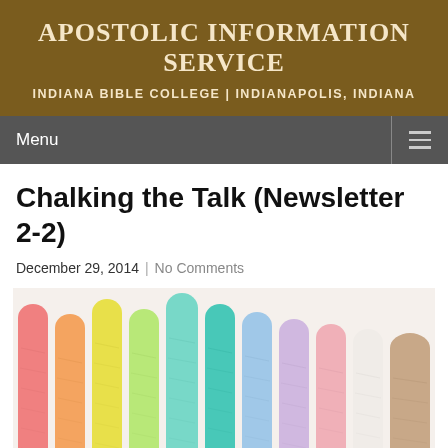APOSTOLIC INFORMATION SERVICE
INDIANA BIBLE COLLEGE | INDIANAPOLIS, INDIANA
Chalking the Talk (Newsletter 2-2)
December 29, 2014  |  No Comments
[Figure (photo): A row of colorful chalk sticks (pink, orange, yellow, light green, green, teal, light blue, lavender, pink, white, tan/beige) standing upright against a white background]